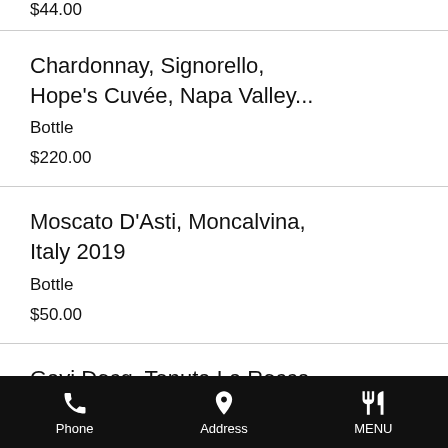$44.00
Chardonnay, Signorello, Hope's Cuvée, Napa Valley... | Bottle | $220.00
Moscato D'Asti, Moncalvina, Italy 2019 | Bottle | $50.00
Gavi Docg, Tenuta La Rocca, Italy 2018
Phone | Address | MENU